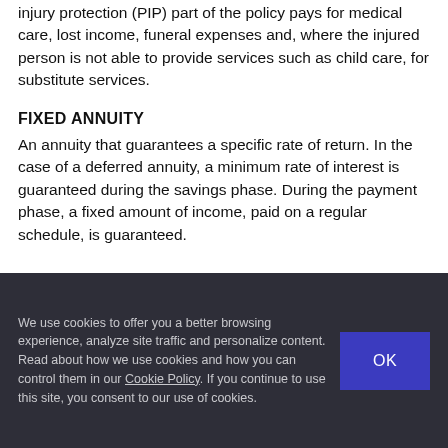injury protection (PIP) part of the policy pays for medical care, lost income, funeral expenses and, where the injured person is not able to provide services such as child care, for substitute services.
FIXED ANNUITY
An annuity that guarantees a specific rate of return. In the case of a deferred annuity, a minimum rate of interest is guaranteed during the savings phase. During the payment phase, a fixed amount of income, paid on a regular schedule, is guaranteed.
We use cookies to offer you a better browsing experience, analyze site traffic and personalize content. Read about how we use cookies and how you can control them in our Cookie Policy. If you continue to use this site, you consent to our use of cookies.